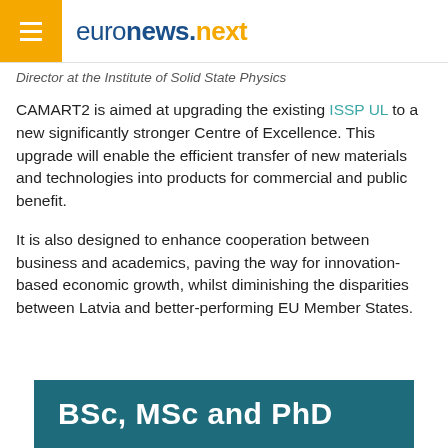euronews.next
Director at the Institute of Solid State Physics
CAMART2 is aimed at upgrading the existing ISSP UL to a new significantly stronger Centre of Excellence. This upgrade will enable the efficient transfer of new materials and technologies into products for commercial and public benefit.
It is also designed to enhance cooperation between business and academics, paving the way for innovation-based economic growth, whilst diminishing the disparities between Latvia and better-performing EU Member States.
[Figure (other): Dark teal banner with bold white text reading 'BSc, MSc and PhD']